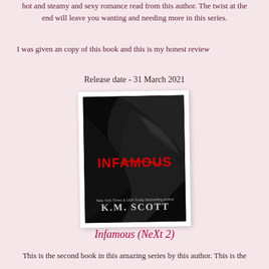hot and steamy and sexy romance read from this author. The twist at the end will leave you wanting and needing more in this series.
I was given an copy of this book and this is my honest review
Release date - 31 March 2021
[Figure (illustration): Book cover of 'Infamous' by K.M. Scott — dark background with abstract figure, red title text 'INFAMOUS' in the center, author name at the bottom]
Infamous (NeXt 2)
This is the second book in this amazing series by this author. This is the